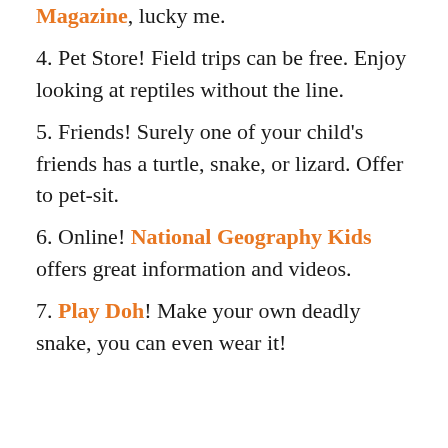3. Magazine, lucky me.
4. Pet Store! Field trips can be free. Enjoy looking at reptiles without the line.
5. Friends! Surely one of your child's friends has a turtle, snake, or lizard. Offer to pet-sit.
6. Online! National Geography Kids offers great information and videos.
7. Play Doh! Make your own deadly snake, you can even wear it!